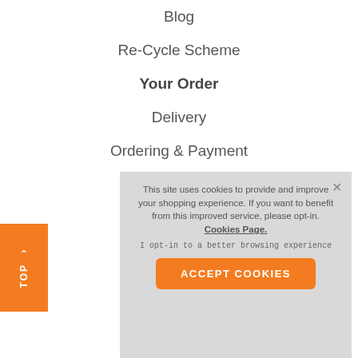Blog
Re-Cycle Scheme
Your Order
Delivery
Ordering & Payment
Returns
[Figure (screenshot): Orange TOP navigation button on left side]
This site uses cookies to provide and improve your shopping experience. If you want to benefit from this improved service, please opt-in. Cookies Page.
I opt-in to a better browsing experience
ACCEPT COOKIES